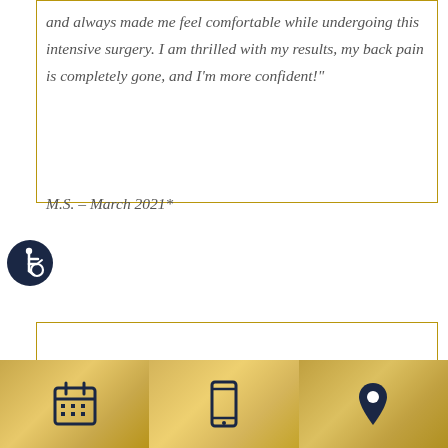and always made me feel comfortable while undergoing this intensive surgery. I am thrilled with my results, my back pain is completely gone, and I'm more confident!"
M.S. – March 2021*
[Figure (other): Accessibility icon (wheelchair user symbol) in dark navy circle]
[Figure (other): Three gold/yellow footer sections with calendar icon, phone/mobile icon, and map pin/location icon in dark navy]